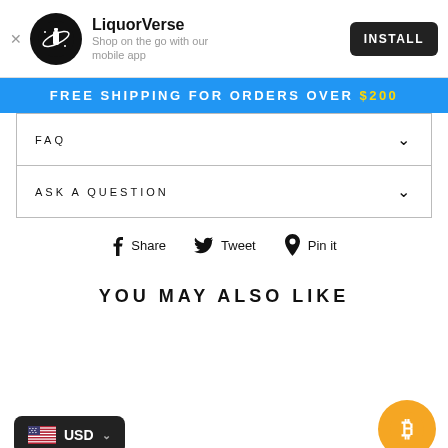LiquorVerse — Shop on the go with our mobile app — INSTALL
FREE SHIPPING FOR ORDERS OVER $200
FAQ
ASK A QUESTION
Share  Tweet  Pin it
YOU MAY ALSO LIKE
USD
[Figure (logo): Bitcoin cryptocurrency button, gold circle with white Bitcoin symbol]